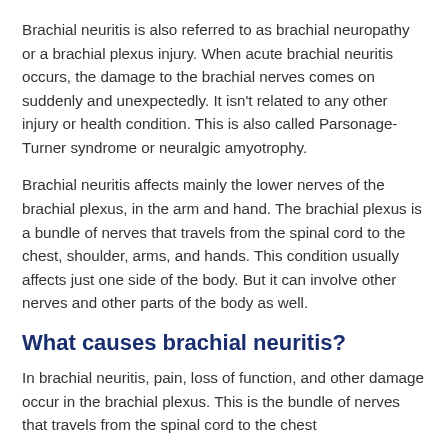Brachial neuritis is also referred to as brachial neuropathy or a brachial plexus injury. When acute brachial neuritis occurs, the damage to the brachial nerves comes on suddenly and unexpectedly. It isn't related to any other injury or health condition. This is also called Parsonage-Turner syndrome or neuralgic amyotrophy.
Brachial neuritis affects mainly the lower nerves of the brachial plexus, in the arm and hand. The brachial plexus is a bundle of nerves that travels from the spinal cord to the chest, shoulder, arms, and hands. This condition usually affects just one side of the body. But it can involve other nerves and other parts of the body as well.
What causes brachial neuritis?
In brachial neuritis, pain, loss of function, and other damage occur in the brachial plexus. This is the bundle of nerves that travels from the spinal cord to the chest